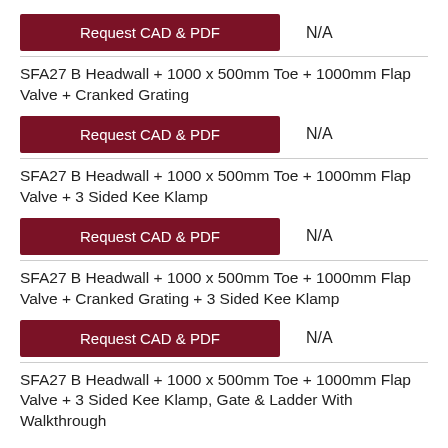Request CAD & PDF   N/A
SFA27 B Headwall + 1000 x 500mm Toe + 1000mm Flap Valve + Cranked Grating
Request CAD & PDF   N/A
SFA27 B Headwall + 1000 x 500mm Toe + 1000mm Flap Valve + 3 Sided Kee Klamp
Request CAD & PDF   N/A
SFA27 B Headwall + 1000 x 500mm Toe + 1000mm Flap Valve + Cranked Grating + 3 Sided Kee Klamp
Request CAD & PDF   N/A
SFA27 B Headwall + 1000 x 500mm Toe + 1000mm Flap Valve + 3 Sided Kee Klamp, Gate & Ladder With Walkthrough